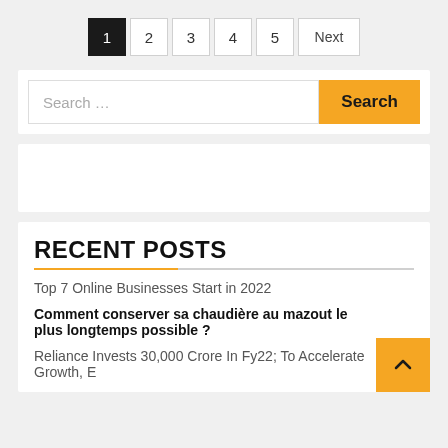1 2 3 4 5 Next
Search ...
RECENT POSTS
Top 7 Online Businesses Start in 2022
Comment conserver sa chaudière au mazout le plus longtemps possible ?
Reliance Invests 30,000 Crore In Fy22; To Accelerate Growth, E